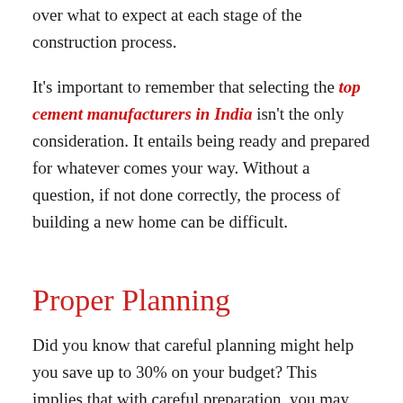over what to expect at each stage of the construction process.
It's important to remember that selecting the top cement manufacturers in India isn't the only consideration. It entails being ready and prepared for whatever comes your way. Without a question, if not done correctly, the process of building a new home can be difficult.
Proper Planning
Did you know that careful planning might help you save up to 30% on your budget? This implies that with careful preparation, you may acquire the greatest online cement price for your project. However, before diving into the details, it's important to establish a few fundamental objectives. This could lead to the overall objectives and